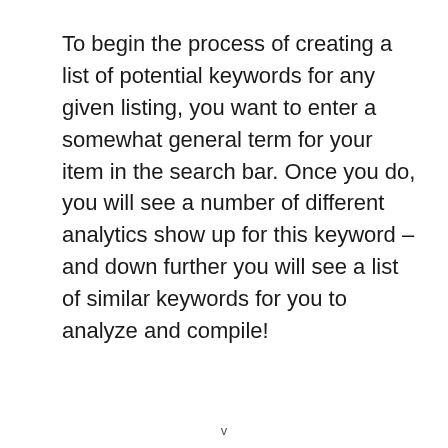To begin the process of creating a list of potential keywords for any given listing, you want to enter a somewhat general term for your item in the search bar. Once you do, you will see a number of different analytics show up for this keyword – and down further you will see a list of similar keywords for you to analyze and compile!
v